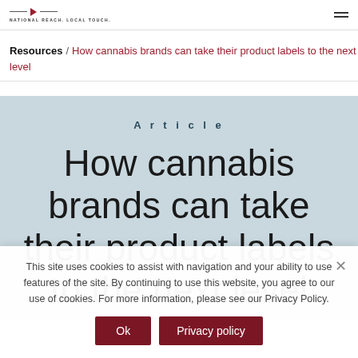NATIONAL REACH. LOCAL TOUCH.
Resources / How cannabis brands can take their product labels to the next level
Article
How cannabis brands can take their product labels to the next level
This site uses cookies to assist with navigation and your ability to use features of the site. By continuing to use this website, you agree to our use of cookies. For more information, please see our Privacy Policy.
Ok | Privacy policy